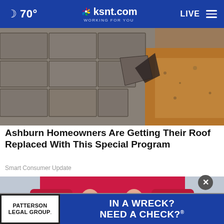🌙 70° | ksnt.com WORKING FOR YOU | LIVE ☰
[Figure (photo): Close-up photo of damaged asphalt roof shingles with curling and missing pieces, exposing the roof deck underneath]
Ashburn Homeowners Are Getting Their Roof Replaced With This Special Program
Smart Consumer Update
[Figure (photo): Person in a red top and jeans with hands clasped behind their back]
[Figure (other): Advertisement: Patterson Legal Group — IN A WRECK? NEED A CHECK?®]